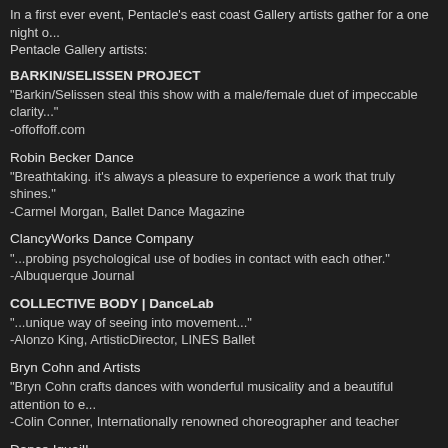In a first ever event, Pentacle's east coast Gallery artists gather for a one night o... Pentacle Gallery artists:
BARKIN/SELISSEN PROJECT
"Barkin/Selissen steal this show with a male/female duet of impeccable clarity..."
-offoffoff.com
Robin Becker Dance
"Breathtaking. it's always a pleasure to experience a work that truly shines."
-Carmel Morgan, Ballet Dance Magazine
ClancyWorks Dance Company
"...probing psychological use of bodies in contact with each other."
-Albuquerque Journal
COLLECTIVE BODY | DanceLab
"...unique way of seeing into movement..."
-Alonzo King, ArtisticDirector, LINES Ballet
Bryn Cohn and Artists
"Bryn Cohn crafts dances with wonderful musicality and a beautiful attention to e..."
-Colin Conner, Internationally renowned choreographer and teacher
Dance Iquail!
"A standout performance ... featuring thought provoking choreography performed..."
WALTER RUTLEDGE, HARLEM
-World Magazine On-Line